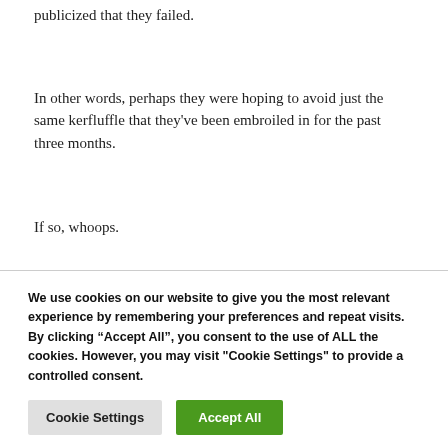publicized that they failed.
In other words, perhaps they were hoping to avoid just the same kerfluffle that they've been embroiled in for the past three months.
If so, whoops.
We use cookies on our website to give you the most relevant experience by remembering your preferences and repeat visits. By clicking “Accept All”, you consent to the use of ALL the cookies. However, you may visit "Cookie Settings" to provide a controlled consent.